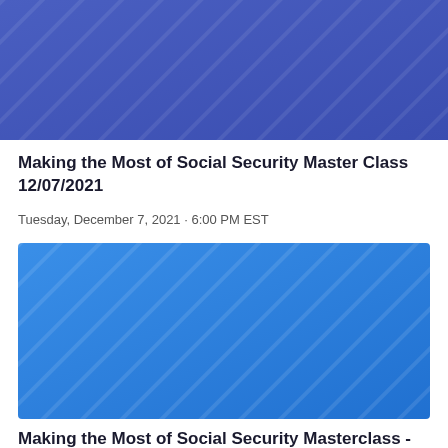[Figure (illustration): Blue gradient banner image with diagonal stripe pattern, medium-dark blue background]
Making the Most of Social Security Master Class 12/07/2021
Tuesday, December 7, 2021 · 6:00 PM EST
[Figure (illustration): Blue gradient banner image with diagonal stripe pattern, bright blue background]
Making the Most of Social Security Masterclass -